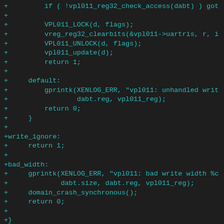[Figure (screenshot): Source code diff showing a C code snippet with added lines (prefixed with +) in teal/cyan color on dark background. The code contains vpl011 UART register handling functions including write_ignore and bad_width labels, and static struct definitions.]